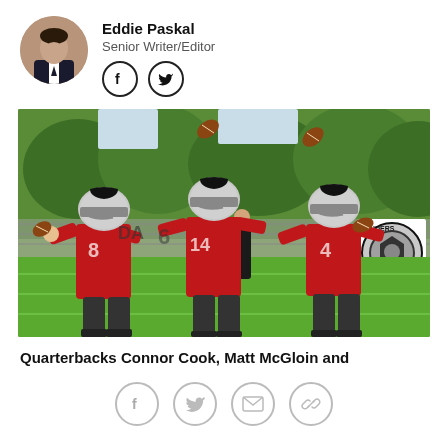Eddie Paskal
Senior Writer/Editor
[Figure (photo): Three Oakland Raiders quarterbacks in red jerseys throwing footballs at practice, with the Raiders logo visible on the fence in the background.]
Quarterbacks Connor Cook, Matt McGloin and